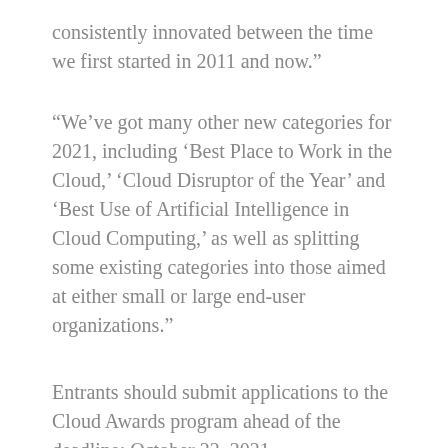consistently innovated between the time we first started in 2011 and now."
"We’ve got many other new categories for 2021, including ‘Best Place to Work in the Cloud,’ ‘Cloud Disruptor of the Year’ and ‘Best Use of Artificial Intelligence in Cloud Computing,’ as well as splitting some existing categories into those aimed at either small or large end-user organizations."
Entrants should submit applications to the Cloud Awards program ahead of the deadline: October 22, 2021.